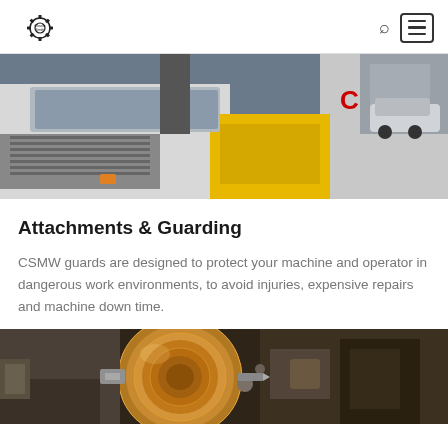Charlie Smith [logo]
[Figure (photo): Two white CN-branded industrial vehicles/machines side by side in a warehouse/industrial environment, with yellow equipment visible in the center and a car in the background]
Attachments & Guarding
CSMW guards are designed to protect your machine and operator in dangerous work environments, to avoid injuries, expensive repairs and machine down time.
[Figure (photo): Close-up of a lathe or machining equipment showing a bronze/copper-colored circular metal workpiece being machined, with mechanical components visible]